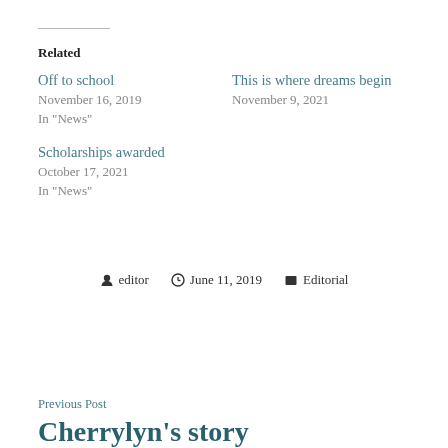Related
Off to school
November 16, 2019
In "News"
This is where dreams begin
November 9, 2021
Scholarships awarded
October 17, 2021
In "News"
editor  June 11, 2019  Editorial
Previous Post
Cherrylyn's story